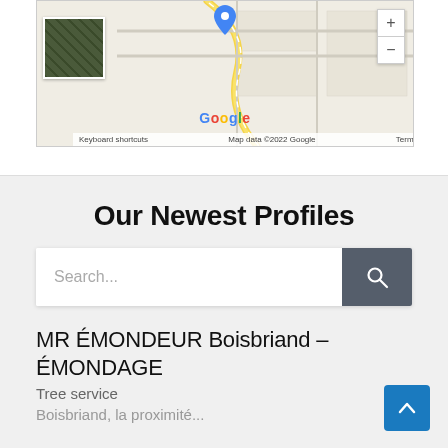[Figure (screenshot): Google Maps embed showing a location pin with satellite thumbnail, zoom controls, Google logo, and footer with keyboard shortcuts, map data, and Terms of Use attribution.]
Our Newest Profiles
[Figure (screenshot): Search input field with placeholder text 'Search...' and a dark gray search button with magnifying glass icon.]
MR ÉMONDEUR Boisbriand – ÉMONDAGE
Tree service
Boisbriand, la proximité...